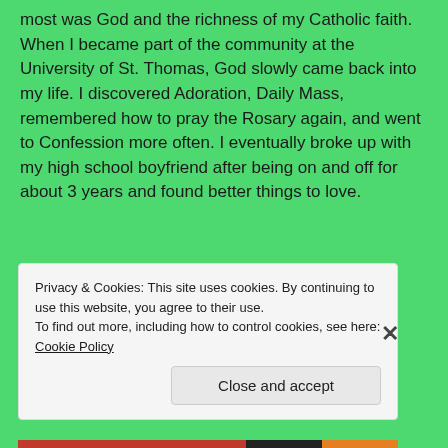most was God and the richness of my Catholic faith. When I became part of the community at the University of St. Thomas, God slowly came back into my life. I discovered Adoration, Daily Mass, remembered how to pray the Rosary again, and went to Confession more often. I eventually broke up with my high school boyfriend after being on and off for about 3 years and found better things to love.
[Figure (other): White horizontal bar element on green background]
Privacy & Cookies: This site uses cookies. By continuing to use this website, you agree to their use.
To find out more, including how to control cookies, see here: Cookie Policy
Close and accept